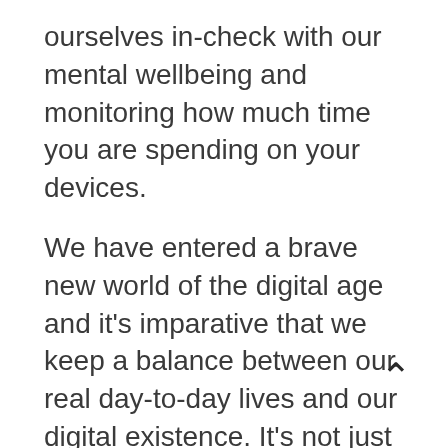ourselves in-check with our mental wellbeing and monitoring how much time you are spending on your devices.
We have entered a brave new world of the digital age and it's imparative that we keep a balance between our real day-to-day lives and our digital existence. It's not just important for our social and interpersonal relationships but als ofor our own wellbeing and mental health
With countermeasures and a conscious insight into our own mental wellbeing, we can embrace this new digital age and